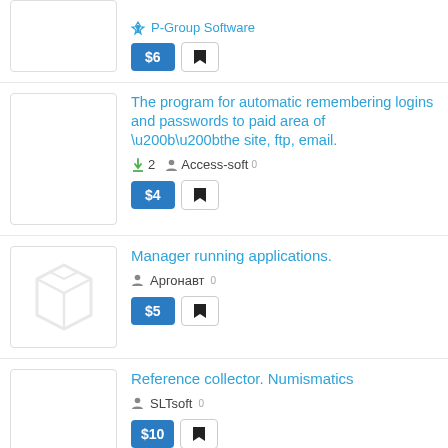P-Group Software · $6
The program for automatic remembering logins and passwords to paid area of \u200b\u200bthe site, ftp, email. · 2 downloads · Access-soft 0 · $4
Manager running applications. · Аргонавт 0 · $5
Reference collector. Numismatics · SLTsoft 0 · $10
Real accelerators Windows XP